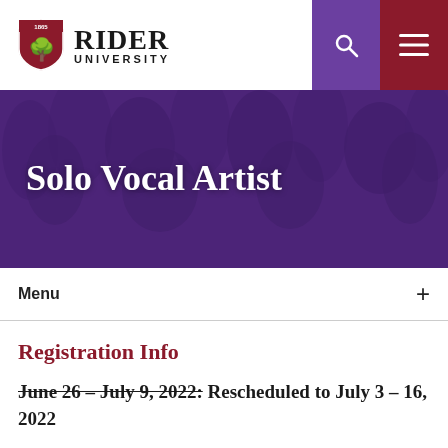[Figure (logo): Rider University logo with shield and text]
Solo Vocal Artist
Menu
Registration Info
June 26 - July 9, 2022: Rescheduled to July 3 - 16, 2022